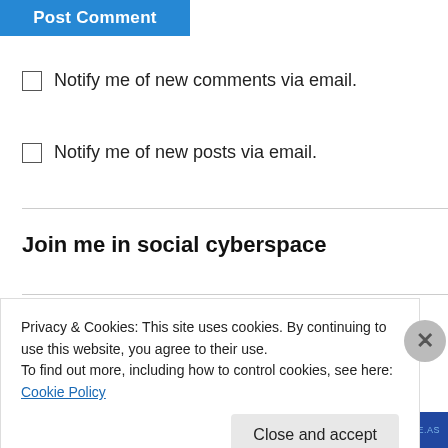Post Comment
Notify me of new comments via email.
Notify me of new posts via email.
Join me in social cyberspace
Privacy & Cookies: This site uses cookies. By continuing to use this website, you agree to their use.
To find out more, including how to control cookies, see here: Cookie Policy
Close and accept